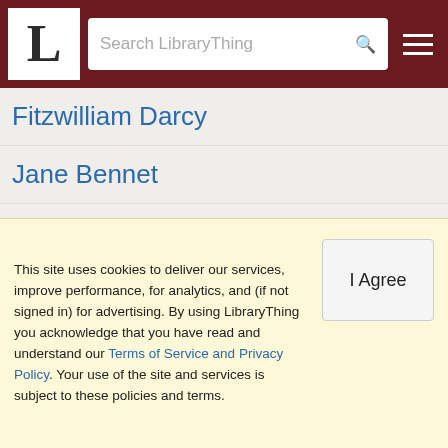LibraryThing — Search LibraryThing
Fitzwilliam Darcy
Jane Bennet
Bernard Gui
Charles Bingley
George Wickham
Salvatore
Irene Reilly
Angelo Mancuso
This site uses cookies to deliver our services, improve performance, for analytics, and (if not signed in) for advertising. By using LibraryThing you acknowledge that you have read and understand our Terms of Service and Privacy Policy. Your use of the site and services is subject to these policies and terms.